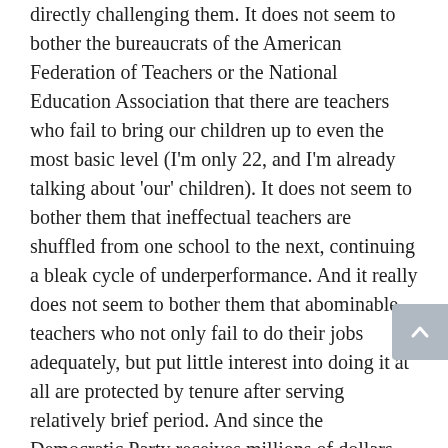directly challenging them. It does not seem to bother the bureaucrats of the American Federation of Teachers or the National Education Association that there are teachers who fail to bring our children up to even the most basic level (I'm only 22, and I'm already talking about 'our' children). It does not seem to bother them that ineffectual teachers are shuffled from one school to the next, continuing a bleak cycle of underperformance. And it really does not seem to bother them that abominable teachers who not only fail to do their jobs adequately, but put little interest into doing it at all are protected by tenure after serving relatively brief period. And since the Democratic Party receives millions of dollars from the teacher unions, we cannot expect them to set any standards of accountability. But Michelle Rhee did.
However, we will no longer have the benefit of seeing how much further she could have gone because she has since resigned. But during her brief stay, Rhee amassed a record number of achievements unseen by any previous modern Chancellor. She won the opportunity to fire the most atrocious teachers. Test scores improved by leaps and bounds. She even proposed a plan that would have allowed